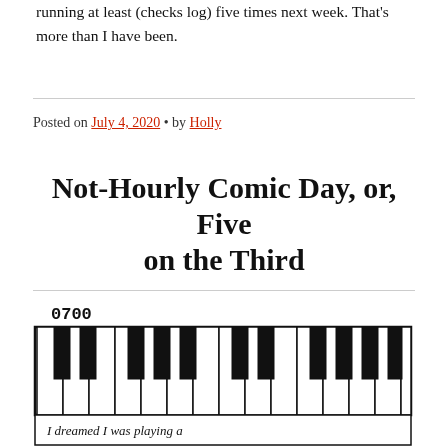running at least (checks log) five times next week. That's more than I have been.
Posted on July 4, 2020 • by Holly
Not-Hourly Comic Day, or, Five on the Third
[Figure (illustration): Hand-drawn comic panel showing a piano keyboard with the time '0700' written above it, and text at the bottom reading 'I dreamed I was playing a']